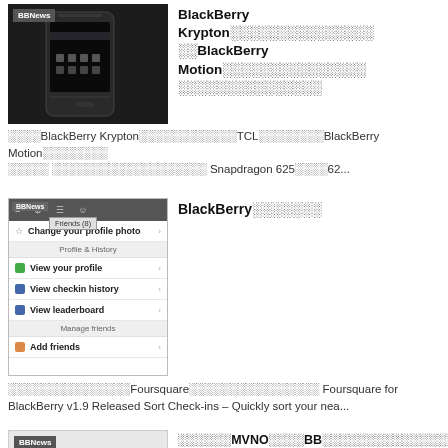[Figure (photo): BlackBerry smartphone device photo with BBNews label]
BlackBerry Krypton██████████████████BlackBerry Motion██████████████████████████████
████BlackBerry Krypton██████████████TCL████████BlackBerry Motion████████████ ██████████████████████ Snapdragon 625████62...
[Figure (screenshot): BlackBerry BBM app screenshot showing Friends list, Change your profile photo, Profile & History, View your profile, View checkin history, View leaderboard, Manage friends, Add friends with BBNews label]
BlackBerry███████
████████████████Foursquare██████████████████ Foursquare for BlackBerry v1.9 Released Sort Check-ins – Quickly sort your nea...
[Figure (photo): No image placeholder with BBNews label]
██████MVNO████BB██████████████████████